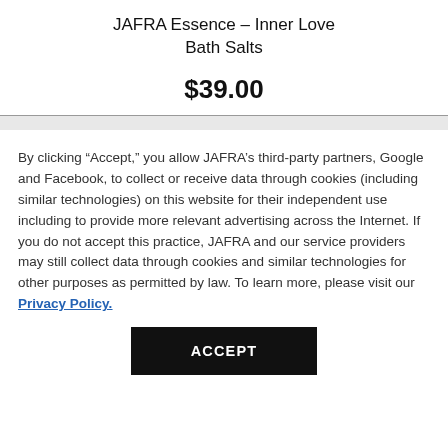JAFRA Essence – Inner Love Bath Salts
$39.00
By clicking “Accept,” you allow JAFRA’s third-party partners, Google and Facebook, to collect or receive data through cookies (including similar technologies) on this website for their independent use including to provide more relevant advertising across the Internet. If you do not accept this practice, JAFRA and our service providers may still collect data through cookies and similar technologies for other purposes as permitted by law. To learn more, please visit our Privacy Policy.
ACCEPT